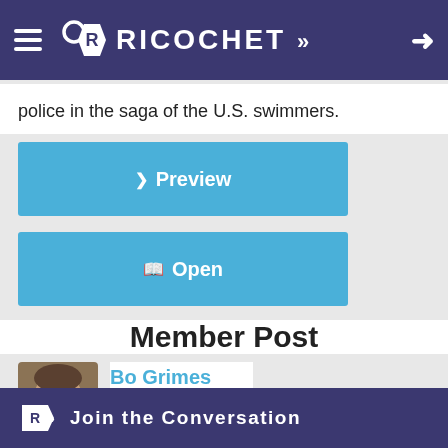RICOCHET
police in the saga of the U.S. swimmers.
[Figure (other): Preview button - blue rectangular button with chevron icon and text 'Preview']
[Figure (other): Open button - blue rectangular button with book icon and text 'Open']
Member Post
[Figure (photo): Profile photo of Bo Grimes - man with glasses and beard]
Bo Grimes
August 19, 2016
18 comments 12 members
Join the Conversation